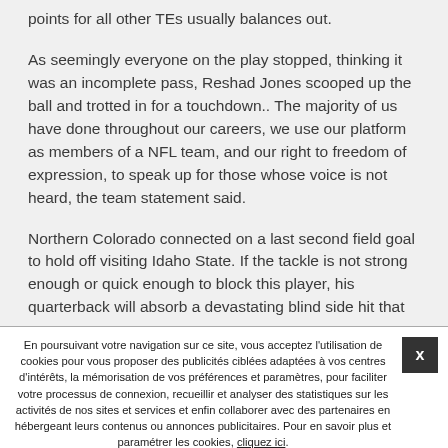points for all other TEs usually balances out.
As seemingly everyone on the play stopped, thinking it was an incomplete pass, Reshad Jones scooped up the ball and trotted in for a touchdown.. The majority of us have done throughout our careers, we use our platform as members of a NFL team, and our right to freedom of expression, to speak up for those whose voice is not heard, the team statement said.
Northern Colorado connected on a last second field goal to hold off visiting Idaho State. If the tackle is not strong enough or quick enough to block this player, his quarterback will absorb a devastating blind side hit that
En poursuivant votre navigation sur ce site, vous acceptez l'utilisation de cookies pour vous proposer des publicités ciblées adaptées à vos centres d'intérêts, la mémorisation de vos préférences et paramètres, pour faciliter votre processus de connexion, recueillir et analyser des statistiques sur les activités de nos sites et services et enfin collaborer avec des partenaires en hébergeant leurs contenus ou annonces publicitaires. Pour en savoir plus et paramétrer les cookies, cliquez ici.